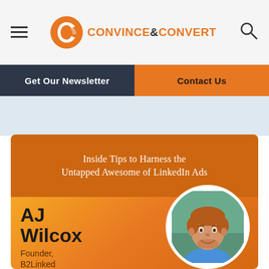Convince & Convert
Get Our Newsletter
Contact Us
[Figure (illustration): Article banner for podcast or blog post. Orange background with title text 'Inside Tips to Harness the Untapped Awesome of LinkedIn Ads', featuring AJ Wilcox, Founder, B2Linked, with a circular headshot photo.]
Inside Tips to Harness the Untapped Awesome of LinkedIn Ads
AJ Wilcox
Founder,
B2Linked